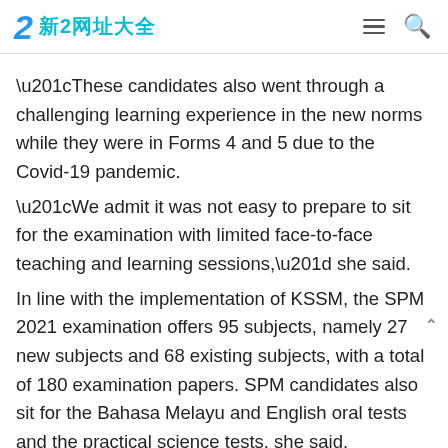2 新2网址大全
“These candidates also went through a challenging learning experience in the new norms while they were in Forms 4 and 5 due to the Covid-19 pandemic.
“We admit it was not easy to prepare to sit for the examination with limited face-to-face teaching and learning sessions,” she said.
In line with the implementation of KSSM, the SPM 2021 examination offers 95 subjects, namely 27 new subjects and 68 existing subjects, with a total of 180 examination papers. SPM candidates also sit for the Bahasa Melayu and English oral tests and the practical science tests, she said.
Elaborating, Nor Zamani said the English subject was aligned with the Common European Framework of Reference for Languages (CEFR) in line with the examination...